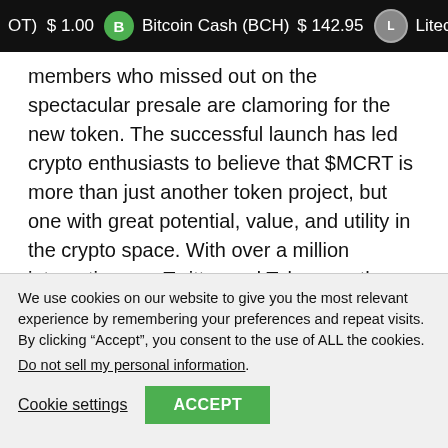OT) $1.00   Bitcoin Cash (BCH) $142.95   Litecoin (LT
members who missed out on the spectacular presale are clamoring for the new token. The successful launch has led crypto enthusiasts to believe that $MCRT is more than just another token project, but one with great potential, value, and utility in the crypto space. With over a million interactions on Twitter and Telegram, the successful launch has led crypto enthusiasts to believe that $MCRT is more than just another token project. $MCRT is presently selling at a large premium
We use cookies on our website to give you the most relevant experience by remembering your preferences and repeat visits. By clicking “Accept”, you consent to the use of ALL the cookies.
Do not sell my personal information.
Cookie settings  ACCEPT